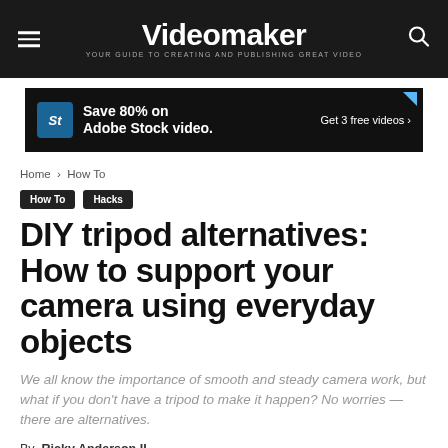Videomaker — YOUR GUIDE TO CREATING AND PUBLISHING GREAT VIDEO
[Figure (other): Adobe Stock video advertisement banner: Save 80% on Adobe Stock video. Get 3 free videos >]
Home › How To
How To  Hacks
DIY tripod alternatives: How to support your camera using everyday objects
We all know the importance of smooth and steady camera work, but what if you don't have a tripod to make it happen? No worries — there are alternatives.
By Ricky Anderson II